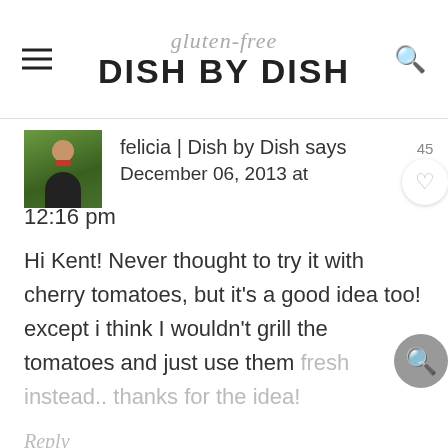gluten-free DISH BY DISH
felicia | Dish by Dish says
December 06, 2013 at 12:16 pm
Hi Kent! Never thought to try it with cherry tomatoes, but it's a good idea too! except i think I wouldn't grill the tomatoes and just use them fresh instead.. thanks for the idea!
Reply